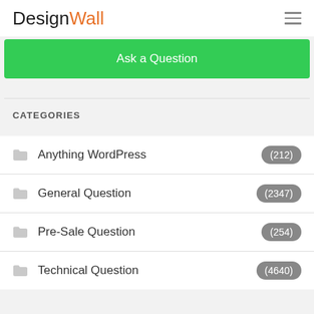DesignWall
Ask a Question
CATEGORIES
Anything WordPress (212)
General Question (2347)
Pre-Sale Question (254)
Technical Question (4640)